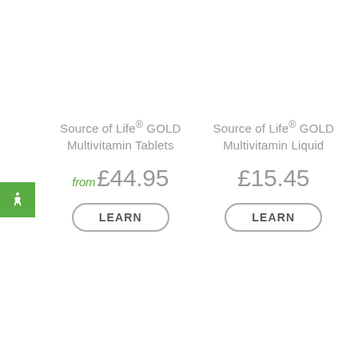[Figure (illustration): Green accessibility icon button with human figure silhouette, positioned on left edge]
Source of Life® GOLD Multivitamin Tablets
from £44.95
LEARN
Source of Life® GOLD Multivitamin Liquid
£15.45
LEARN